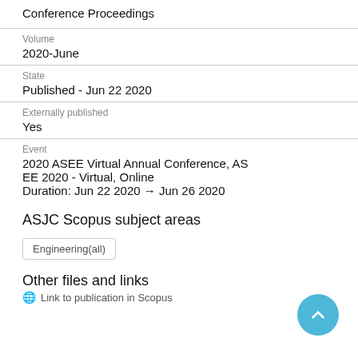Conference Proceedings
Volume
2020-June
State
Published - Jun 22 2020
Externally published
Yes
Event
2020 ASEE Virtual Annual Conference, ASEE 2020 - Virtual, Online
Duration: Jun 22 2020 → Jun 26 2020
ASJC Scopus subject areas
Engineering(all)
Other files and links
Link to publication in Scopus